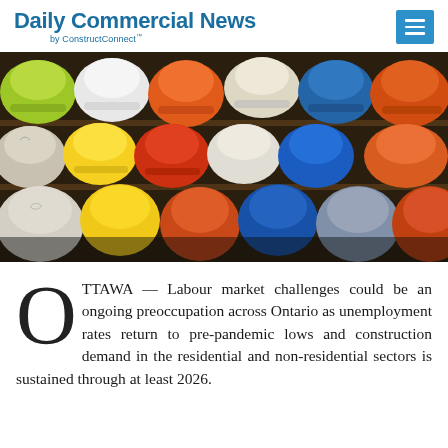Daily Commercial News by ConstructConnect
[Figure (photo): Rows of colorful construction hard hats (yellow, green, orange, red, blue, white, grey) arranged in shelves viewed from the front]
OTTAWA — Labour market challenges could be an ongoing preoccupation across Ontario as unemployment rates return to pre-pandemic lows and construction demand in the residential and non-residential sectors is sustained through at least 2026.